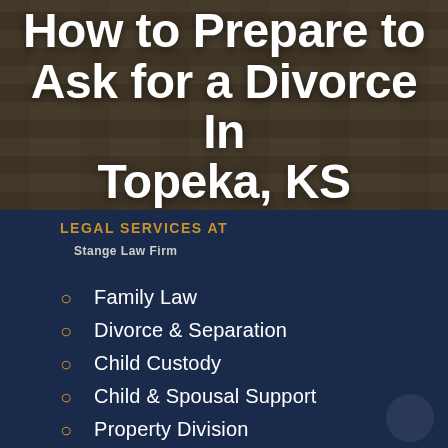How to Prepare to Ask for a Divorce In Topeka, KS
LEGAL SERVICES AT
Stange Law Firm
Family Law
Divorce & Separation
Child Custody
Child & Spousal Support
Property Division